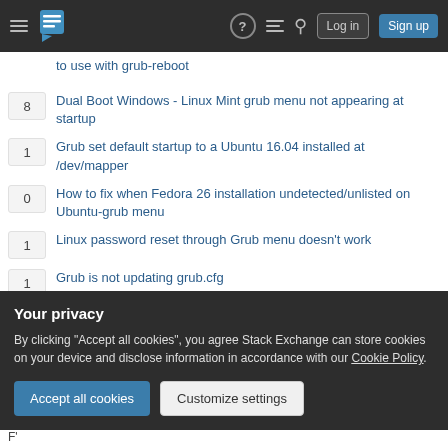Stack Exchange navigation bar with Log in and Sign up buttons
to use with grub-reboot
8 – Dual Boot Windows - Linux Mint grub menu not appearing at startup
1 – Grub set default startup to a Ubuntu 16.04 installed at /dev/mapper
0 – How to fix when Fedora 26 installation undetected/unlisted on Ubuntu-grub menu
1 – Linux password reset through Grub menu doesn't work
1 – Grub is not updating grub.cfg
Your privacy
By clicking "Accept all cookies", you agree Stack Exchange can store cookies on your device and disclose information in accordance with our Cookie Policy.
Accept all cookies   Customize settings